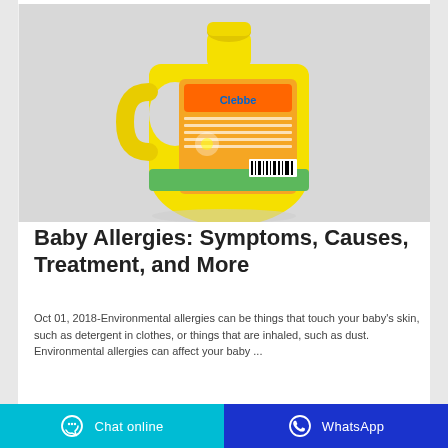[Figure (photo): Yellow plastic laundry detergent jug with orange and green label reading 'Clebbe', shown on a light grey background]
Baby Allergies: Symptoms, Causes, Treatment, and More
Oct 01, 2018-Environmental allergies can be things that touch your baby's skin, such as detergent in clothes, or things that are inhaled, such as dust. Environmental allergies can affect your baby ...
Chat online | WhatsApp